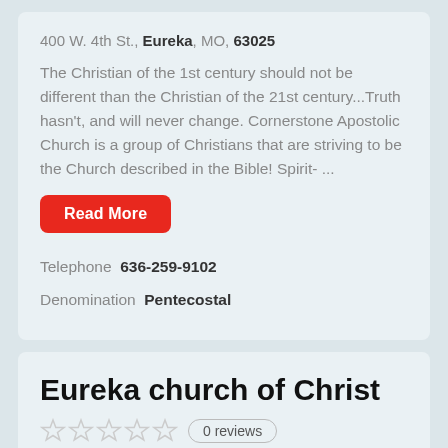400 W. 4th St., Eureka, MO, 63025
The Christian of the 1st century should not be different than the Christian of the 21st century…Truth hasn't, and will never change. Cornerstone Apostolic Church is a group of Christians that are striving to be the Church described in the Bible! Spirit- ...
Read More
Telephone  636-259-9102
Denomination  Pentecostal
Eureka church of Christ
0 reviews
15 Hilltop Village Center Drive, Eureka, MO, 63025